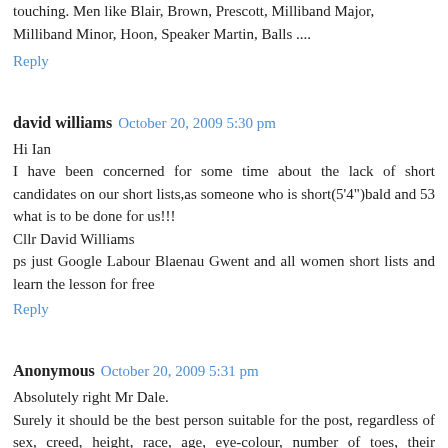touching. Men like Blair, Brown, Prescott, Milliband Major, Milliband Minor, Hoon, Speaker Martin, Balls ....
Reply
david williams  October 20, 2009 5:30 pm
Hi Ian
I have been concerned for some time about the lack of short candidates on our short lists,as someone who is short(5'4")bald and 53 what is to be done for us!!!
Cllr David Williams
ps just Google Labour Blaenau Gwent and all women short lists and learn the lesson for free
Reply
Anonymous  October 20, 2009 5:31 pm
Absolutely right Mr Dale.
Surely it should be the best person suitable for the post, regardless of sex, creed, height, race, age, eye-colour, number of toes, their favourite reading matter, their Grannys...